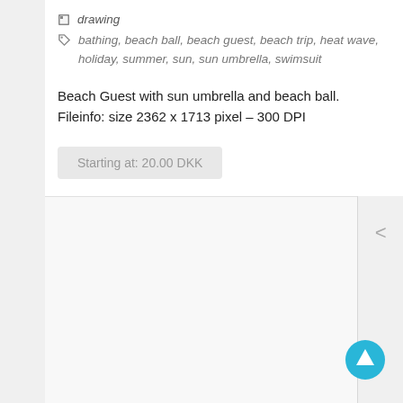drawing
bathing, beach ball, beach guest, beach trip, heat wave, holiday, summer, sun, sun umbrella, swimsuit
Beach Guest with sun umbrella and beach ball. Fileinfo: size 2362 x 1713 pixel – 300 DPI
Starting at: 20.00 DKK
[Figure (other): Circular up-arrow button in cyan/teal blue color]